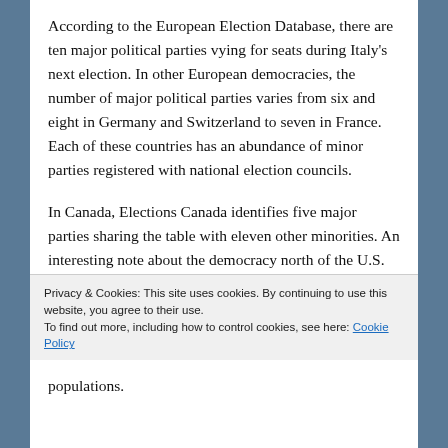According to the European Election Database, there are ten major political parties vying for seats during Italy's next election. In other European democracies, the number of major political parties varies from six and eight in Germany and Switzerland to seven in France. Each of these countries has an abundance of minor parties registered with national election councils.
In Canada, Elections Canada identifies five major parties sharing the table with eleven other minorities. An interesting note about the democracy north of the U.S. border, is that very often the federal
Privacy & Cookies: This site uses cookies. By continuing to use this website, you agree to their use.
To find out more, including how to control cookies, see here: Cookie Policy
Close and accept
populations.